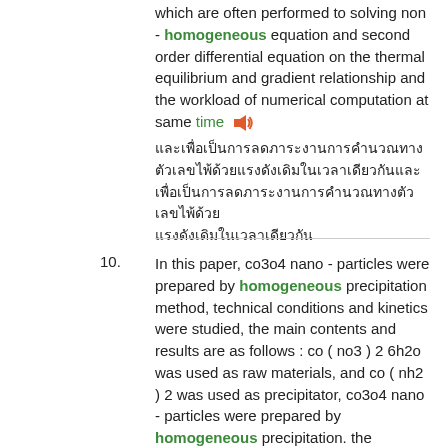which are often performed to solving non - homogeneous equation and second order differential equation on the thermal equilibrium and gradient relationship and the workload of numerical computation at same time 🔊
[Thai text block]
10. In this paper, co3o4 nano - particles were prepared by homogeneous precipitation method, technical conditions and kinetics were studied, the main contents and results are as follows : co ( no3 ) 2 6h2o was used as raw materials, and co ( nh2 ) 2 was used as precipitator, co3o4 nano - particles were prepared by homogeneous precipitation. the influences of concentration, molar ratio of reactants, reaction temperature and time, dryness temperature and time, and calcining temperature and time on particle size were investigated 🔊